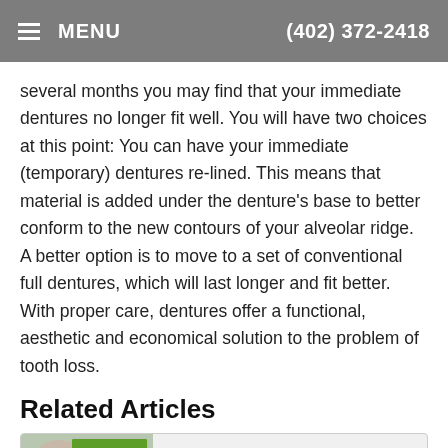MENU  (402) 372-2418
several months you may find that your immediate dentures no longer fit well. You will have two choices at this point: You can have your immediate (temporary) dentures re-lined. This means that material is added under the denture's base to better conform to the new contours of your alveolar ridge. A better option is to move to a set of conventional full dentures, which will last longer and fit better. With proper care, dentures offer a functional, aesthetic and economical solution to the problem of tooth loss.
Related Articles
[Figure (screenshot): Thumbnail preview of a dental article titled 'Removable Full' with an image of a person and accessibility view toolbar at the bottom]